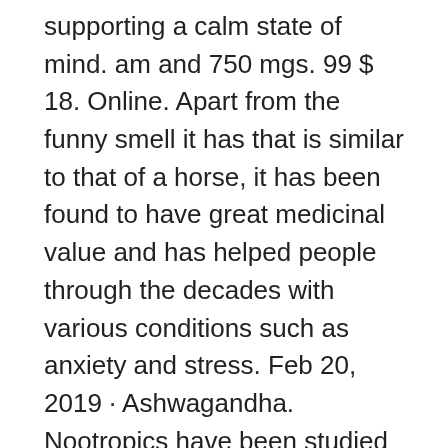supporting a calm state of mind. am and 750 mgs. 99 $ 18. Online. Apart from the funny smell it has that is similar to that of a horse, it has been found to have great medicinal value and has helped people through the decades with various conditions such as anxiety and stress. Feb 20, 2019 · Ashwagandha. Nootropics have been studied extensively over the years with some of them demonstrating cognitive enhancing properties in cognitively impaired individuals and often in healthy adults as well. Apr 11, 2018 · GABA is an inhibitory neurotransmitter that acts as a mental relaxant. ashwagandha extract and pregnancy. Właściwości Withania somniferabest ashwagandha brand reddit. #4. Himalaya ashwagandha price in uae, ashwagandha walmart. Tolerance and withdrawal should be